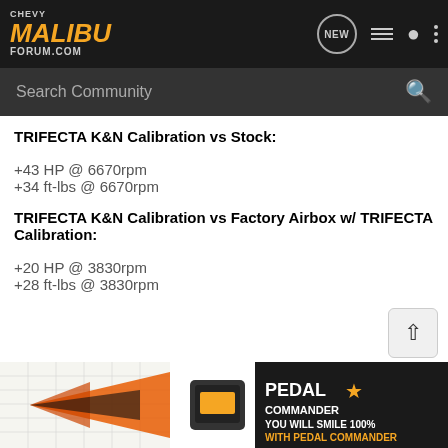Chevy Malibu Forum.com
TRIFECTA K&N Calibration vs Stock:
+43 HP @ 6670rpm
+34 ft-lbs @ 6670rpm
TRIFECTA K&N Calibration vs Factory Airbox w/ TRIFECTA Calibration:
+20 HP @ 3830rpm
+28 ft-lbs @ 3830rpm
[Figure (other): Partial dyno chart with Pedal Commander advertisement overlay showing orange/black graphic and text YOU WILL SMILE 100% WITH PEDAL COMMANDER]